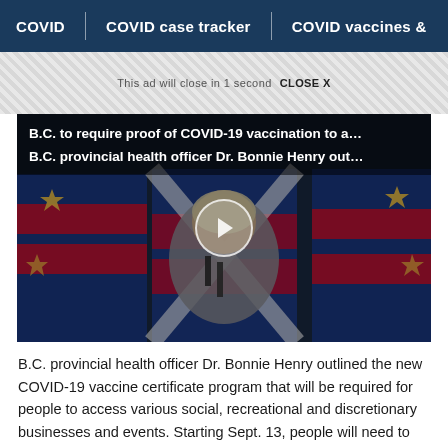COVID  |  COVID case tracker  |  COVID vaccines &
This ad will close in 1 second  CLOSE X
[Figure (screenshot): Video thumbnail showing B.C. provincial health officer Dr. Bonnie Henry speaking at a podium in front of BC flags. Overlay text reads: 'B.C. to require proof of COVID-19 vaccination to a... B.C. provincial health officer Dr. Bonnie Henry out...' A play button is visible in the center.]
B.C. provincial health officer Dr. Bonnie Henry outlined the new COVID-19 vaccine certificate program that will be required for people to access various social, recreational and discretionary businesses and events. Starting Sept. 13, people will need to have at least one dose, with entry requiring those